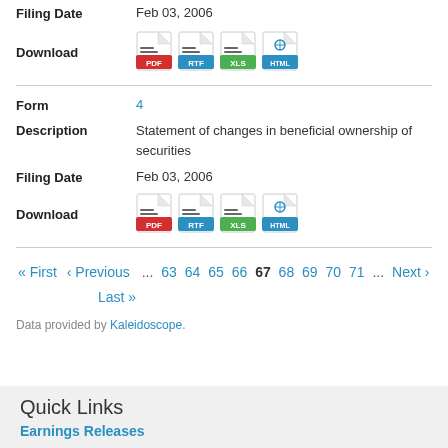Filing Date   Feb 03, 2006
Download   [PDF] [RTF] [XLS] [HTML]
Form   4
Description   Statement of changes in beneficial ownership of securities
Filing Date   Feb 03, 2006
Download   [PDF] [RTF] [XLS] [HTML]
« First  ‹ Previous  ... 63 64 65 66 67 68 69 70 71 ... Next ›  Last »
Data provided by Kaleidoscope.
Quick Links
Earnings Releases